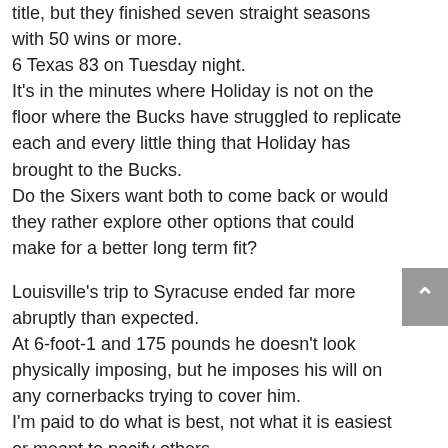title, but they finished seven straight seasons with 50 wins or more.
6 Texas 83 on Tuesday night.
It's in the minutes where Holiday is not on the floor where the Bucks have struggled to replicate each and every little thing that Holiday has brought to the Bucks.
Do the Sixers want both to come back or would they rather explore other options that could make for a better long term fit?
Louisville's trip to Syracuse ended far more abruptly than expected.
At 6-foot-1 and 175 pounds he doesn't look physically imposing, but he imposes his will on any cornerbacks trying to cover him.
I'm paid to do what is best, not what it is easiest or meant to pacify others.
Free throw makes will be key in this game.
As a rookie, Allen showcased his athleticism with three